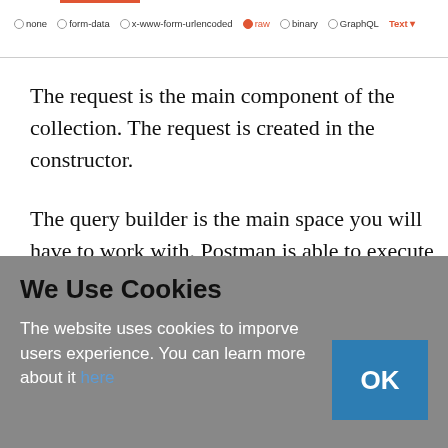[Figure (screenshot): Postman request body type selector with radio button options: none, form-data, x-www-form-urlencoded, raw (selected/highlighted in orange-red), binary, GraphQL, and a Text dropdown. There is a red underline on the top portion.]
The request is the main component of the collection. The request is created in the constructor.
The query builder is the main space you will have to work with. Postman is able to execute requests using all standard HTTP methods and all request parameters are under your control.
We Use Cookies
The website uses cookies to imporve users experience. You can learn more about it here